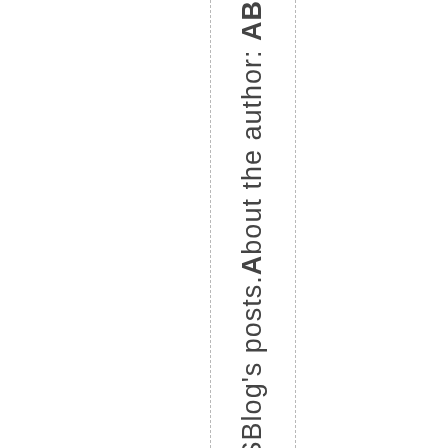SBlog's posts. About the author: AB